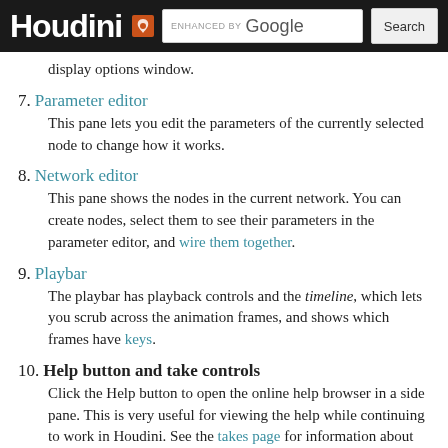Houdini [logo] ENHANCED BY Google [Search]
display options window.
7. Parameter editor
This pane lets you edit the parameters of the currently selected node to change how it works.
8. Network editor
This pane shows the nodes in the current network. You can create nodes, select them to see their parameters in the parameter editor, and wire them together.
9. Playbar
The playbar has playback controls and the timeline, which lets you scrub across the animation frames, and shows which frames have keys.
10. Help button and take controls
Click the Help button to open the online help browser in a side pane. This is very useful for viewing the help while continuing to work in Houdini. See the takes page for information about